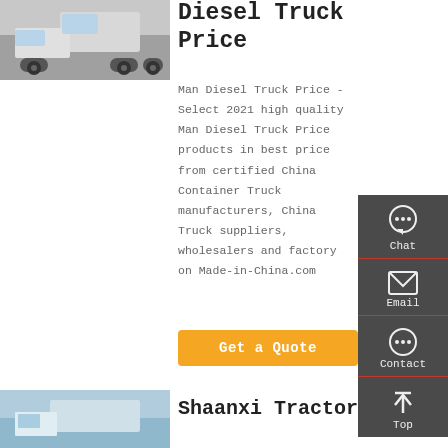[Figure (photo): Photo of a white diesel truck/tractor unit, front-left view, parked outdoors]
Diesel Truck Price
Man Diesel Truck Price - Select 2021 high quality Man Diesel Truck Price products in best price from certified China Container Truck manufacturers, China Truck suppliers, wholesalers and factory on Made-in-China.com
[Figure (screenshot): Get a Quote orange button]
[Figure (infographic): Sidebar with Chat, Email, Contact, Top icons on dark grey background]
[Figure (photo): Photo of a truck/tractor unit against sky background]
Shaanxi Tractor...